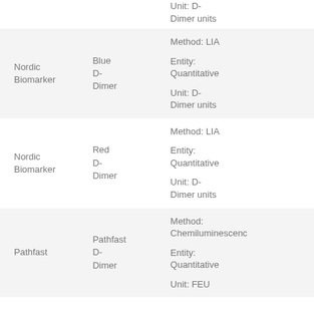| Brand | Product | Details |
| --- | --- | --- |
|  |  | Unit: D-Dimer units |
| Nordic Biomarker | Blue D-Dimer | Method: LIA
Entity: Quantitative
Unit: D-Dimer units |
| Nordic Biomarker | Red D-Dimer | Method: LIA
Entity: Quantitative
Unit: D-Dimer units |
| Pathfast | Pathfast D-Dimer | Method: Chemiluminescence
Entity: Quantitative
Unit: FEU |